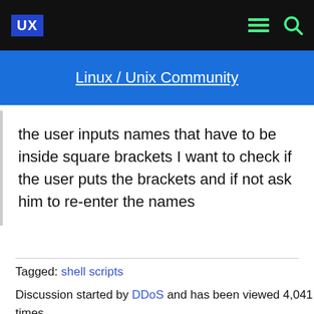UX  [menu] [search]
Linux / Unix Community
the user inputs names that have to be inside square brackets I want to check if the user puts the brackets and if not ask him to re-enter the names
Tagged: shell scripts
Discussion started by DDoS and has been viewed 4,041 times.
There has been 9 replies in this discussion.
The last reply was by DDoS.